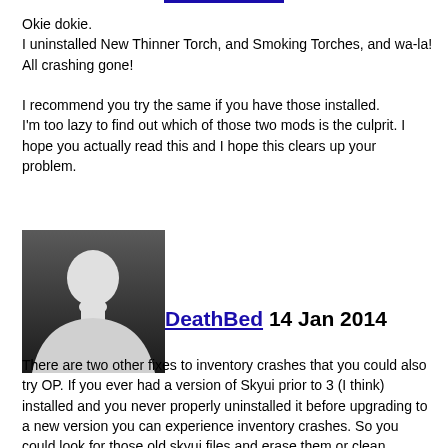Okie dokie.
I uninstalled New Thinner Torch, and Smoking Torches, and wa-la! All crashing gone!

I recommend you try the same if you have those installed.
I'm too lazy to find out which of those two mods is the culprit. I hope you actually read this and I hope this clears up your problem.
[Figure (illustration): Generic grey silhouette avatar placeholder image]
DeathBed 14 Jan 2014
There are two other fixes to inventory crashes that you could also try OP. If you ever had a version of Skyui prior to 3 (I think) installed and you never properly uninstalled it before upgrading to a new version you can experience inventory crashes. So you could look for those old skyui files and erase them or clean reinstall. Also deleting the inventorymenu.swf in your interface folder sometimes fixes inventory menus crashes. The game should regenerate this file for you, but back it up just in case before deleting it.